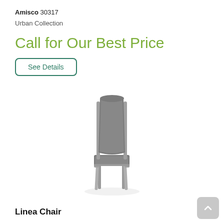Amisco 30317
Urban Collection
Call for Our Best Price
See Details
[Figure (photo): Modern gray upholstered dining chair with metal legs, Linea Chair by Amisco, product photo on white background]
Linea Chair